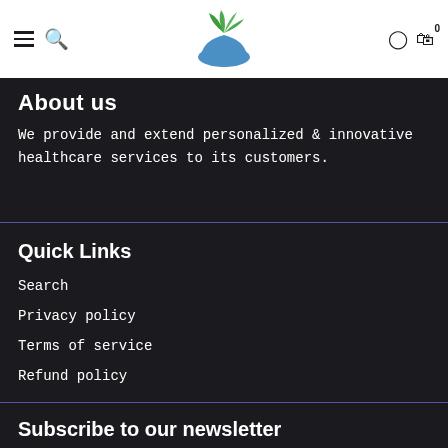[Figure (logo): Green leaf/plant on blue hand logo icon centered in navigation bar]
About us
We provide and extend personalized & innovative healthcare services to its customers.
Quick Links
Search
Privacy policy
Terms of service
Refund policy
Subscribe to our newsletter